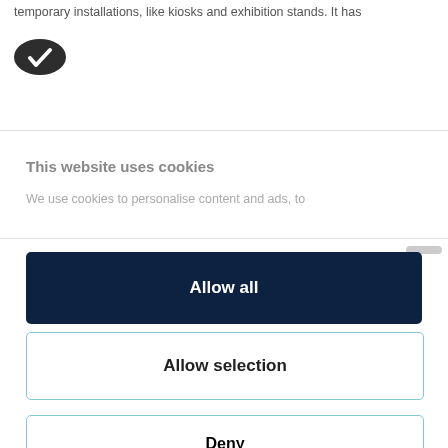temporary installations, like kiosks and exhibition stands. It has
[Figure (logo): Cookiebot logo - dark oval shape with white checkmark]
This website uses cookies
We use cookies to personalise content and ads, to
Allow all
Allow selection
Deny
Powered by Cookiebot by Usercentrics
Using an Acrylic Sheet for your Garden Table Top